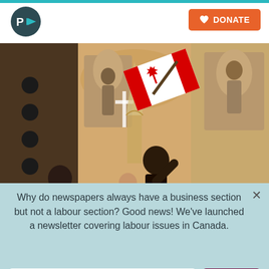P>> logo | DONATE button
[Figure (photo): A person waving a Canadian flag inside an ornate church with religious murals and stained glass, with a speaker at a podium]
NEWS
The 'Freedom Convoy' is Turning Into a Christian
Why do newspapers always have a business section but not a labour section? Good news! We've launched a newsletter covering labour issues in Canada.
Email Address*
SIGN UP